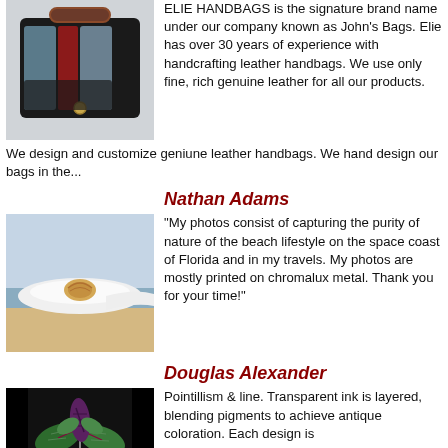[Figure (photo): Photo of a leather handbag with colorful panels in blue, red, and grey with a gold clasp]
ELIE HANDBAGS is the signature brand name under our company known as John's Bags. Elie has over 30 years of experience with handcrafting leather handbags. We use only fine, rich genuine leather for all our products. We design and customize geniune leather handbags. We hand design our bags in the...
Nathan Adams
[Figure (photo): Photo of a seashell resting on soft white fabric near blue water]
"My photos consist of capturing the purity of nature of the beach lifestyle on the space coast of Florida and in my travels. My photos are mostly printed on chromalux metal. Thank you for your time!"
Douglas Alexander
[Figure (photo): Illustration of a stylized plant with striped leaves on a black background]
Pointillism & line. Transparent ink is layered, blending pigments to achieve antique coloration. Each design is